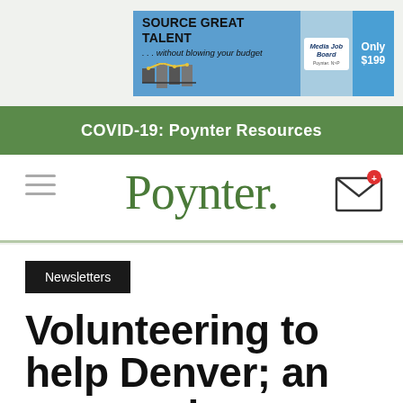[Figure (infographic): Advertisement banner: SOURCE GREAT TALENT ...without blowing your budget, Media Job Board Poynter NP, Only $199]
COVID-19: Poynter Resources
Poynter.
Newsletters
Volunteering to help Denver; an owner who